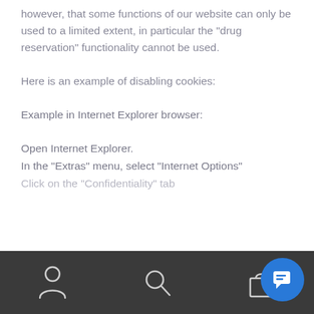however, that some functions of our website can only be used to a limited extent, in particular the “drug reservation” functionality cannot be used.
Here is an example of disabling cookies:
Example in Internet Explorer browser:
Open Internet Explorer.
In the “Extras” menu, select “Internet Options”
Click on the “Confidentiality” tab
We use cookies on our website to give you the most relevant experience by remembering your preferences and repeat visits. By clicking “Accept”, you consent to the use of ALL the cookies.
[Figure (other): Bottom navigation bar with person icon, search icon, shopping bag icon, and blue chat button]